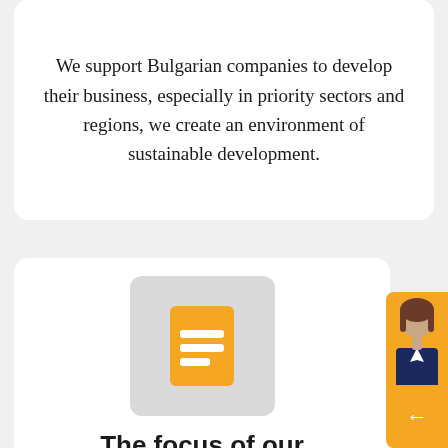We support Bulgarian companies to develop their business, especially in priority sectors and regions, we create an environment of sustainable development.
[Figure (illustration): Gray rounded rectangle card containing an orange document/book icon with horizontal lines representing text on it]
The focus of our